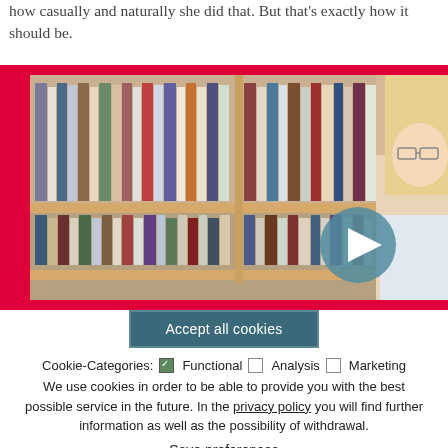how casually and naturally she did that. But that's exactly how it should be.
[Figure (screenshot): Video thumbnail showing a woman with blonde hair and glasses standing in front of a bookshelf filled with books, with a play button overlay. The video is framed with a red border.]
Accept all cookies
Cookie-Categories: ☑ Functional ☐ Analysis ☐ Marketing We use cookies in order to be able to provide you with the best possible service in the future. In the privacy policy you will find further information as well as the possibility of withdrawal.
Save preferences